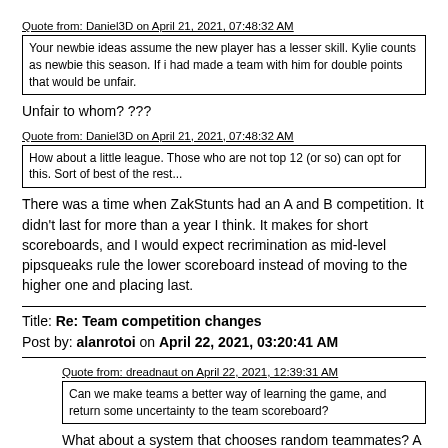Quote from: Daniel3D on April 21, 2021, 07:48:32 AM
Your newbie ideas assume the new player has a lesser skill. Kylie counts as newbie this season. If i had made a team with him for double points that would be unfair.
Unfair to whom? ???
Quote from: Daniel3D on April 21, 2021, 07:48:32 AM
How about a little league. Those who are not top 12 (or so) can opt for this. Sort of best of the rest...
There was a time when ZakStunts had an A and B competition. It didn't last for more than a year I think. It makes for short scoreboards, and I would expect recrimination as mid-level pipsqueaks rule the lower scoreboard instead of moving to the higher one and placing last.
Title: Re: Team competition changes
Post by: alanrotoi on April 22, 2021, 03:20:41 AM
Quote from: dreadnaut on April 22, 2021, 12:39:31 AM
Can we make teams a better way of learning the game, and return some uncertainty to the team scoreboard?
What about a system that chooses random teammates? A montly selection of teammates. It would be more fair, but it might not be so popular.